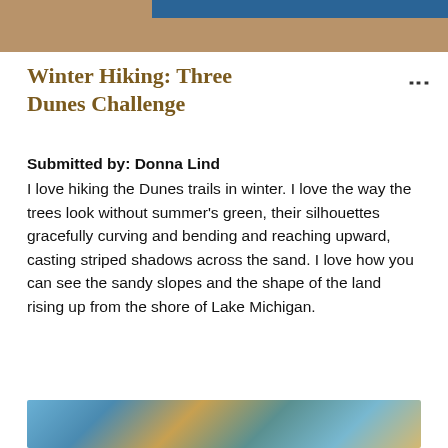Winter Hiking: Three Dunes Challenge
Winter Hiking: Three Dunes Challenge
Submitted by: Donna Lind
I love hiking the Dunes trails in winter. I love the way the trees look without summer's green, their silhouettes gracefully curving and bending and reaching upward, casting striped shadows across the sand. I love how you can see the sandy slopes and the shape of the land rising up from the shore of Lake Michigan.
[Figure (photo): Bottom edge photo showing tree branches against a blue sky, partially visible]